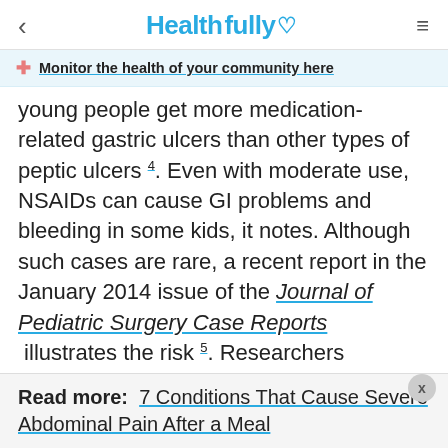< Healthfully ♡ ☰
Monitor the health of your community here
young people get more medication-related gastric ulcers than other types of peptic ulcers 4. Even with moderate use, NSAIDs can cause GI problems and bleeding in some kids, it notes. Although such cases are rare, a recent report in the January 2014 issue of the Journal of Pediatric Surgery Case Reports illustrates the risk 5. Researchers describe GI complications in a teenage male athlete whose "deeply penetrating ulcer" was traced to NSAID use.
Read more: 7 Conditions That Cause Severe Abdominal Pain After a Meal